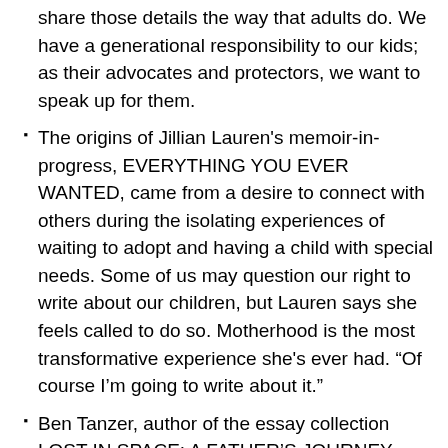share those details the way that adults do. We have a generational responsibility to our kids; as their advocates and protectors, we want to speak up for them.
The origins of Jillian Lauren's memoir-in-progress, EVERYTHING YOU EVER WANTED, came from a desire to connect with others during the isolating experiences of waiting to adopt and having a child with special needs. Some of us may question our right to write about our children, but Lauren says she feels called to do so. Motherhood is the most transformative experience she's ever had. “Of course I’m going to write about it.”
Ben Tanzer, author of the essay collection LOST IN SPACE: A FATHER’S JOURNEY THERE AND BACK AGAIN, has a set of rules for himself when writing